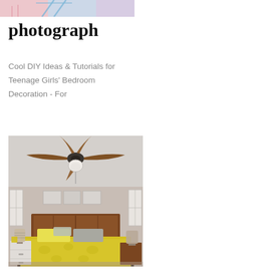[Figure (photo): Partial top image showing colorful decorative elements with pink, blue and white tones]
photograph
Cool DIY Ideas & Tutorials for Teenage Girls' Bedroom Decoration - For
[Figure (photo): Bedroom photo showing a ceiling fan with brown blades and white light fixture, and below a bedroom with a wooden headboard, yellow patterned bedspread, gray and yellow decorative pillows, white nightstand on left, wooden nightstand on right, lamps, and framed artwork on the wall]